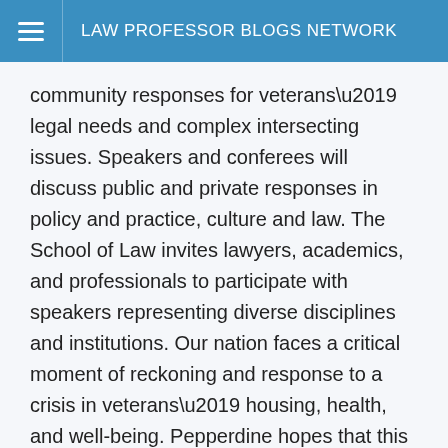LAW PROFESSOR BLOGS NETWORK
community responses for veterans’ legal needs and complex intersecting issues. Speakers and conferees will discuss public and private responses in policy and practice, culture and law. The School of Law invites lawyers, academics, and professionals to participate with speakers representing diverse disciplines and institutions. Our nation faces a critical moment of reckoning and response to a crisis in veterans’ housing, health, and well-being. Pepperdine hopes that this conference can advance our communities toward restoration and honor for these public servants.
Prominent keynote speakers, multidisciplinary panels, guided networking sessions, and concurrent sessions will address these complex issues and generate ideas for creative collaboration to address